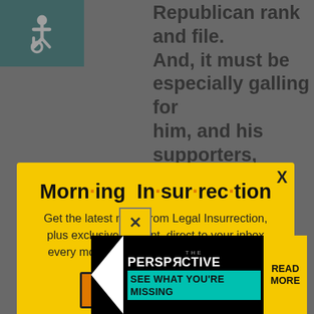[Figure (other): Accessibility icon (wheelchair symbol) on teal/dark green background, top-left corner]
Republican rank and file. And, it must be especially galling for him, and his supporters, that trump's entry into
[Figure (infographic): Yellow modal popup newsletter signup: 'Morn·ing In·sur·rec·tion' - Get the latest news from Legal Insurrection, plus exclusive content, direct to your inbox every morning. Subscribe today – it's free! JOIN NOW button. X close button top right.]
c·ervative, by today's standards. Read More t and always have been.
[Figure (other): Bottom banner ad: The Perspective - SEE WHAT YOU'RE MISSING - READ MORE, with X close button overlay]